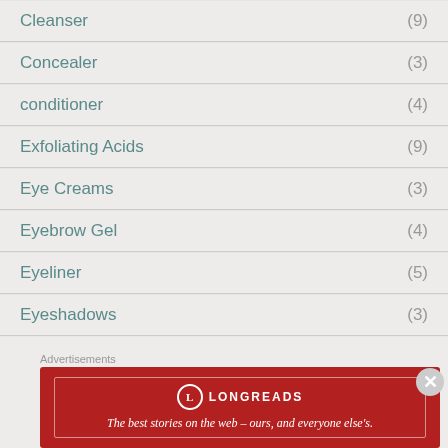Cleanser (9)
Concealer (3)
conditioner (4)
Exfoliating Acids (9)
Eye Creams (3)
Eyebrow Gel (4)
Eyeliner (5)
Eyeshadows (3)
Facial Spray (5)
Advertisements
[Figure (infographic): Longreads advertisement banner: red background with Longreads logo and text 'The best stories on the web – ours, and everyone else's.']